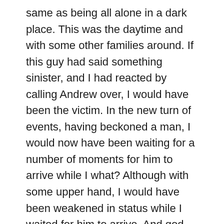same as being all alone in a dark place. This was the daytime and with some other families around. If this guy had said something sinister, and I had reacted by calling Andrew over, I would have been the victim. In the new turn of events, having beckoned a man, I would now have been waiting for a number of moments for him to arrive while I what? Although with some upper hand, I would have been weakened in status while I waited for him to arrive. And god forbid he should not hear or should misunderstand me!
And what about the next time? No, I knew that in the moment I had to strap that mantel on and be